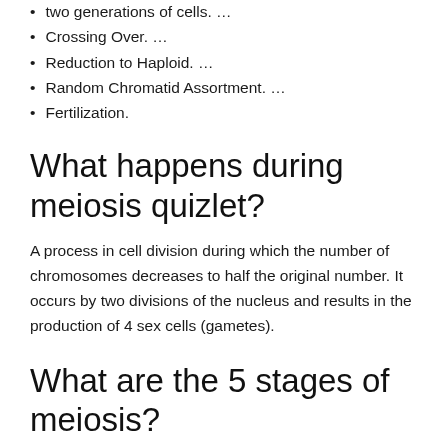two generations of cells. …
Crossing Over. …
Reduction to Haploid. …
Random Chromatid Assortment. …
Fertilization.
What happens during meiosis quizlet?
A process in cell division during which the number of chromosomes decreases to half the original number. It occurs by two divisions of the nucleus and results in the production of 4 sex cells (gametes).
What are the 5 stages of meiosis?